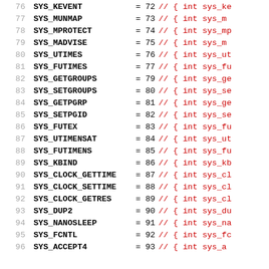Code listing: syscall constants 76-96
76  SYS_KEVENT = 72  // { int sys_ke...
77  SYS_MUNMAP = 73  // { int sys_mu...
78  SYS_MPROTECT = 74  // { int sys_mp...
79  SYS_MADVISE = 75  // { int sys_ma...
80  SYS_UTIMES = 76  // { int sys_ut...
81  SYS_FUTIMES = 77  // { int sys_fu...
82  SYS_GETGROUPS = 79  // { int sys_ge...
83  SYS_SETGROUPS = 80  // { int sys_se...
84  SYS_GETPGRP = 81  // { int sys_ge...
85  SYS_SETPGID = 82  // { int sys_se...
86  SYS_FUTEX = 83  // { int sys_fu...
87  SYS_UTIMENSAT = 84  // { int sys_ut...
88  SYS_FUTIMENS = 85  // { int sys_fu...
89  SYS_KBIND = 86  // { int sys_kb...
90  SYS_CLOCK_GETTIME = 87  // { int sys_cl...
91  SYS_CLOCK_SETTIME = 88  // { int sys_cl...
92  SYS_CLOCK_GETRES = 89  // { int sys_cl...
93  SYS_DUP2 = 90  // { int sys_du...
94  SYS_NANOSLEEP = 91  // { int sys_na...
95  SYS_FCNTL = 92  // { int sys_fc...
96  SYS_ACCEPT4 = 93  // { int sys_ac...